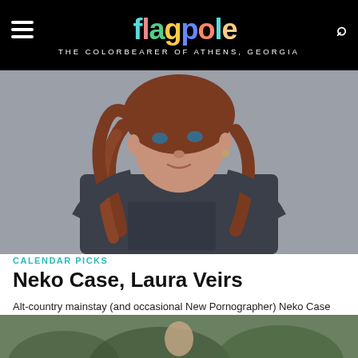flagpole — THE COLORBEARER OF ATHENS, GEORGIA
[Figure (photo): Portrait photo of a woman with curly reddish-brown hair wearing a dark sleeveless shirt, looking at the camera against a gray background.]
CALENDAR PICKS
Neko Case, Laura Veirs
Alt-country mainstay (and occasional New Pornographer) Neko Case comes through town touring behind her most recent album, The Worse Things Get, the Harder I Fight, the Harder I Fight,...
[Figure (photo): Partial bottom strip showing an outdoor photo, partially cropped.]